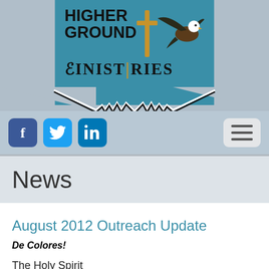[Figure (logo): Higher Ground Ministries logo with teal background, bold text, golden cross, and bald eagle]
[Figure (other): Navigation bar with Facebook, Twitter, LinkedIn social media buttons and a hamburger menu icon]
News
August 2012 Outreach Update
De Colores!
The Holy Spirit continues to